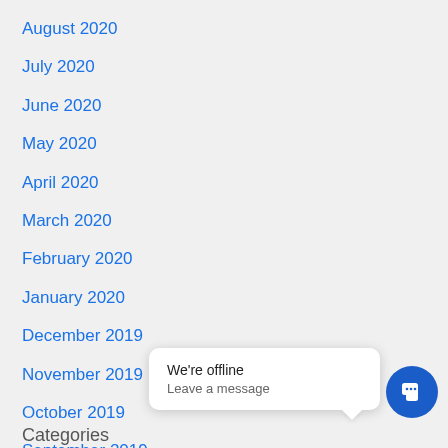August 2020
July 2020
June 2020
May 2020
April 2020
March 2020
February 2020
January 2020
December 2019
November 2019
October 2019
September 2019
August 2019
Categories
[Figure (screenshot): Chat widget popup with text 'We're offline / Leave a message' and a circular blue chat button with speech bubble icon]